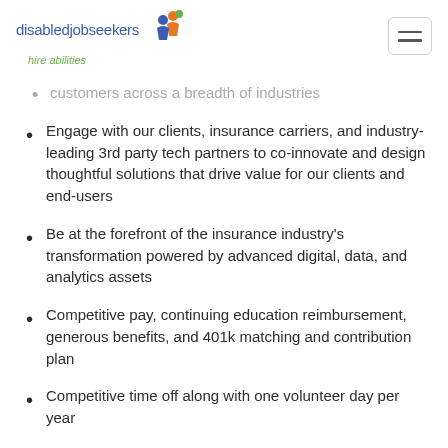disabledjobseekers hire abilities
customers across a breadth of industries
Engage with our clients, insurance carriers, and industry-leading 3rd party tech partners to co-innovate and design thoughtful solutions that drive value for our clients and end-users
Be at the forefront of the insurance industry's transformation powered by advanced digital, data, and analytics assets
Competitive pay, continuing education reimbursement, generous benefits, and 401k matching and contribution plan
Competitive time off along with one volunteer day per year